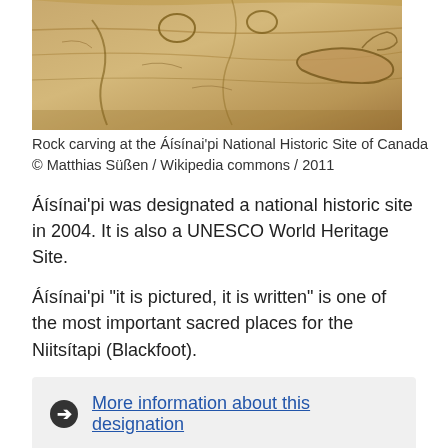[Figure (photo): Rock carving at the Áísínai'pi National Historic Site of Canada, showing carved patterns and an animal figure on sandstone rock surface.]
Rock carving at the Áísínai'pi National Historic Site of Canada
© Matthias Süßen / Wikipedia commons / 2011
Áísínai'pi was designated a national historic site in 2004. It is also a UNESCO World Heritage Site.
Áísínai'pi "it is pictured, it is written" is one of the most important sacred places for the Niitsítapi (Blackfoot).
➔ More information about this designation
The Residential School System National Historic Event
Residential schools for Indigenous children existed in